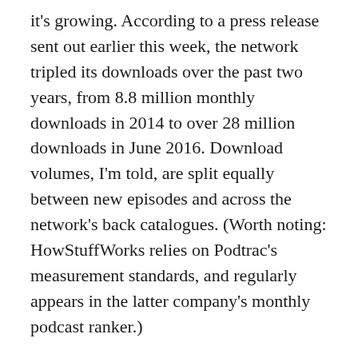it's growing. According to a press release sent out earlier this week, the network tripled its downloads over the past two years, from 8.8 million monthly downloads in 2014 to over 28 million downloads in June 2016. Download volumes, I'm told, are split equally between new episodes and across the network's back catalogues. (Worth noting: HowStuffWorks relies on Podtrac's measurement standards, and regularly appears in the latter company's monthly podcast ranker.)
Hoch tells me that Podtrac's Industry Rankings, which was introduced in May and ranked networks by unique monthly downloads in the U.S., proved to be a boon for the company. HowStuffWorks had placed in the first...